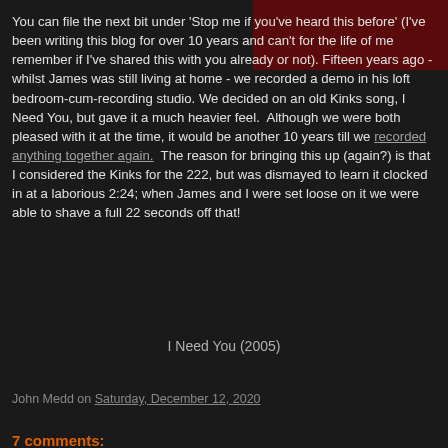[Figure (photo): Dark red/maroon rectangular image block in top right corner]
You can file the next bit under 'Stop me if you've heard this before' (I've been writing this blog for over 10 years and can't for the life of me remember if I've shared this with you already or not). Fifteen years ago - whilst James was still living at home - we recorded a demo in his loft bedroom-cum-recording studio. We decided on an old Kinks song, I Need You, but gave it a much heavier feel.  Although we were both pleased with it at the time, it would be another 10 years till we recorded anything together again.  The reason for bringing this up (again?) is that I considered the Kinks for the 222, but was dismayed to learn it clocked in at a laborious 2:24; when James and I were set loose on it we were able to shave a full 22 seconds off that!
I Need You (2005)
John Medd on Saturday, December 12, 2020
7 comments: